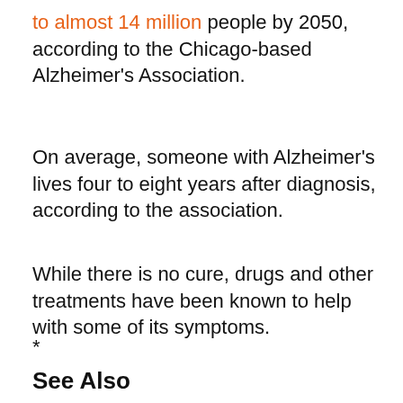to almost 14 million people by 2050, according to the Chicago-based Alzheimer's Association.
On average, someone with Alzheimer's lives four to eight years after diagnosis, according to the association.
While there is no cure, drugs and other treatments have been known to help with some of its symptoms.
*
See Also